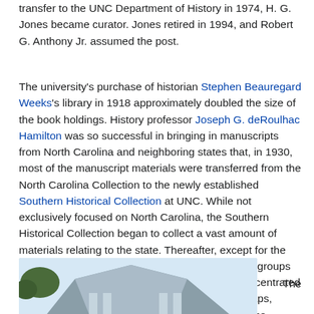transfer to the UNC Department of History in 1974, H. G. Jones became curator. Jones retired in 1994, and Robert G. Anthony Jr. assumed the post.
The university's purchase of historian Stephen Beauregard Weeks's library in 1918 approximately doubled the size of the book holdings. History professor Joseph G. deRoulhac Hamilton was so successful in bringing in manuscripts from North Carolina and neighboring states that, in 1930, most of the manuscript materials were transferred from the North Carolina Collection to the newly established Southern Historical Collection at UNC. While not exclusively focused on North Carolina, the Southern Historical Collection began to collect a vast amount of materials relating to the state. Thereafter, except for the Thomas Wolfe Collection and a few other special groups of manuscripts, the North Carolina Collection concentrated on books, pamphlets, periodicals, broadsides, maps, microforms, and university theses and dissertations.
[Figure (photo): Partial view of a building with a classical roof/dome, partially visible at the bottom of the page. A label 'The' appears to the right.]